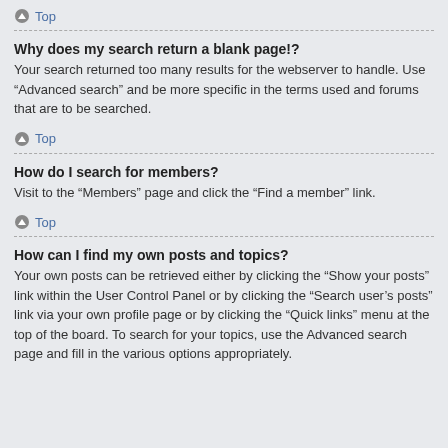Top
Why does my search return a blank page!?
Your search returned too many results for the webserver to handle. Use “Advanced search” and be more specific in the terms used and forums that are to be searched.
Top
How do I search for members?
Visit to the “Members” page and click the “Find a member” link.
Top
How can I find my own posts and topics?
Your own posts can be retrieved either by clicking the “Show your posts” link within the User Control Panel or by clicking the “Search user’s posts” link via your own profile page or by clicking the “Quick links” menu at the top of the board. To search for your topics, use the Advanced search page and fill in the various options appropriately.